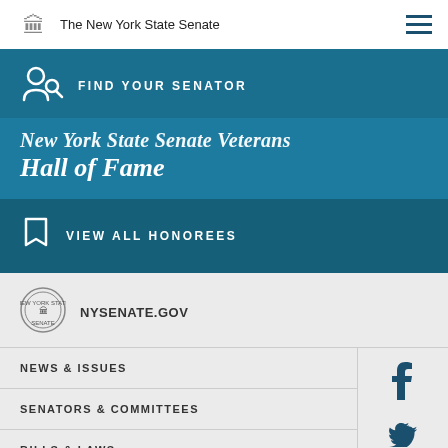The New York State Senate
FIND YOUR SENATOR
New York State Senate Veterans Hall of Fame
VIEW ALL HONOREES
NYSENATE.GOV
NEWS & ISSUES
SENATORS & COMMITTEES
BILLS & LAWS